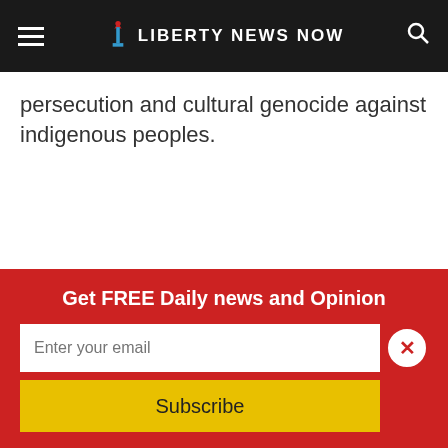Liberty News Now
persecution and cultural genocide against indigenous peoples.
Get FREE Daily news and Opinion
Enter your email
Subscribe